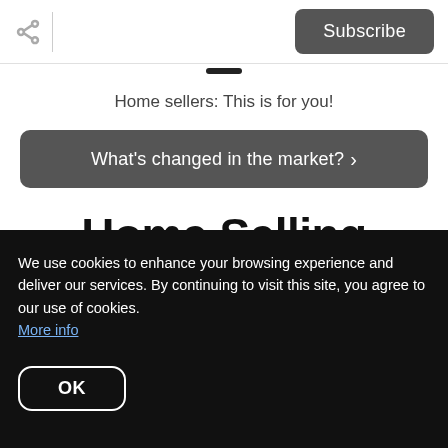Subscribe
Home sellers: This is for you!
What's changed in the market? >
Home Selling
[Figure (photo): Profile photo of a person, partially visible circular avatar]
We use cookies to enhance your browsing experience and deliver our services. By continuing to visit this site, you agree to our use of cookies. More info
OK